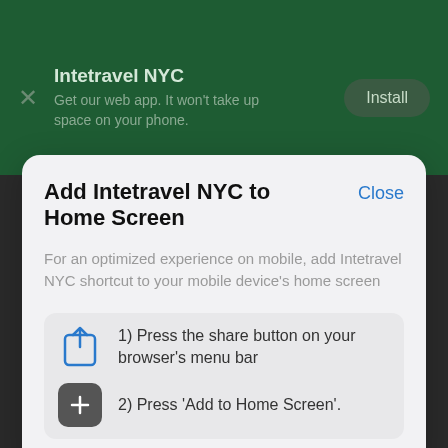[Figure (screenshot): Green mobile browser banner for Intetravel NYC web app with Install button]
Add Intetravel NYC to Home Screen
Close
For an optimized experience on mobile, add Intetravel NYC shortcut to your mobile device's home screen
1) Press the share button on your browser's menu bar
2) Press 'Add to Home Screen'.